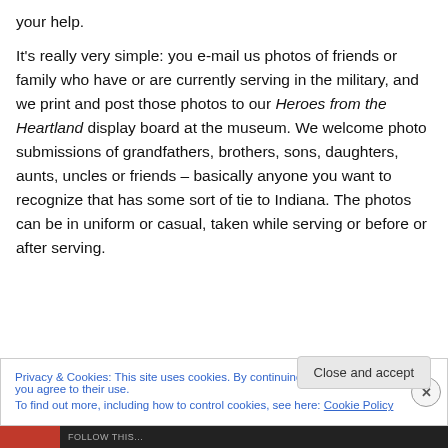your help.

It's really very simple: you e-mail us photos of friends or family who have or are currently serving in the military, and we print and post those photos to our Heroes from the Heartland display board at the museum. We welcome photo submissions of grandfathers, brothers, sons, daughters, aunts, uncles or friends – basically anyone you want to recognize that has some sort of tie to Indiana. The photos can be in uniform or casual, taken while serving or before or after serving.
Privacy & Cookies: This site uses cookies. By continuing to use this website, you agree to their use.
To find out more, including how to control cookies, see here: Cookie Policy